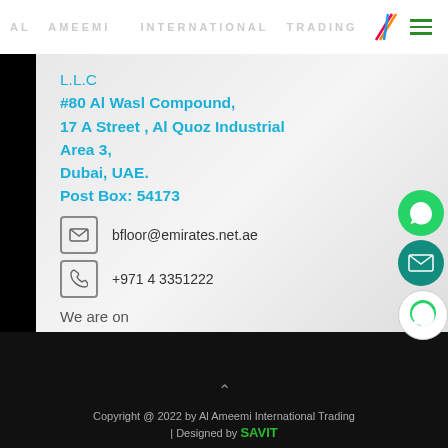AL AMEEMI INTERNATIONAL TRADING
L.L.C
#80 Al Wasl Compound, 17 A Street , Al Quoz Industrial Area 3,
Dubai, UAE.
Post Box: 54173
bfloor@emirates.net.ae
+971 4 3351222
We are on
[Figure (illustration): Facebook, Instagram, LinkedIn social media icons]
[Figure (illustration): Floating action buttons: phone (WhatsApp green), email (teal), WhatsApp]
Copyright @ 2022 by Al Ameemi International Trading | Designed by SAVIT